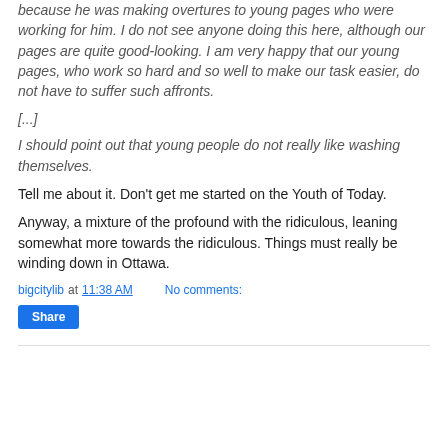because he was making overtures to young pages who were working for him. I do not see anyone doing this here, although our pages are quite good-looking. I am very happy that our young pages, who work so hard and so well to make our task easier, do not have to suffer such affronts.
[...]
I should point out that young people do not really like washing themselves.
Tell me about it. Don't get me started on the Youth of Today.
Anyway, a mixture of the profound with the ridiculous, leaning somewhat more towards the ridiculous. Things must really be winding down in Ottawa.
bigcitylib at 11:38 AM    No comments:
Share